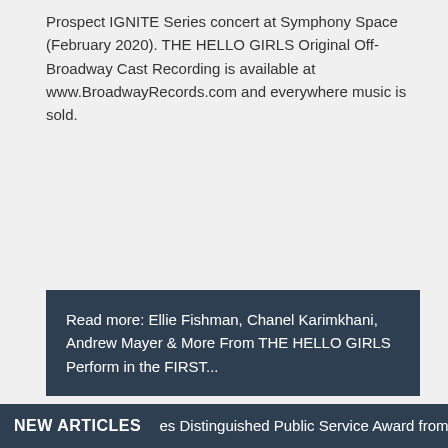Prospect IGNITE Series concert at Symphony Space (February 2020). THE HELLO GIRLS Original Off-Broadway Cast Recording is available at www.BroadwayRecords.com and everywhere music is sold.
Read more: Ellie Fishman, Chanel Karimkhani, Andrew Mayer & More From THE HELLO GIRLS Perform in the FIRST...
NEW ARTICLES   es Distinguished Public Service Award from the